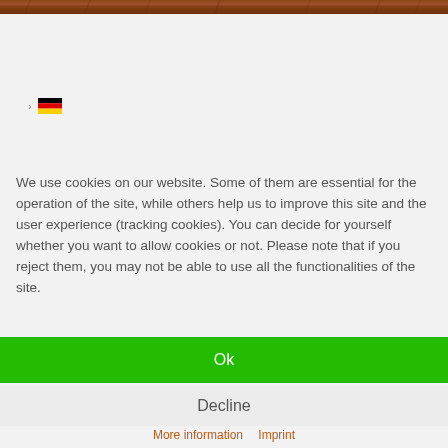[Figure (photo): Decorative wooden texture header image strip at top of page]
[Figure (illustration): German flag icon with navigation arrow/breadcrumb]
We use cookies on our website. Some of them are essential for the operation of the site, while others help us to improve this site and the user experience (tracking cookies). You can decide for yourself whether you want to allow cookies or not. Please note that if you reject them, you may not be able to use all the functionalities of the site.
Ok
Decline
More information   Imprint